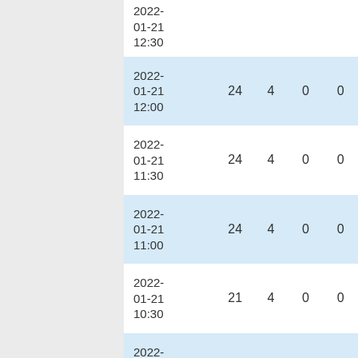| Datetime | Col1 | Col2 | Col3 | Col4 |
| --- | --- | --- | --- | --- |
| 2022-01-21 12:30 |  |  |  |  |
| 2022-01-21 12:00 | 24 | 4 | 0 | 0 |
| 2022-01-21 11:30 | 24 | 4 | 0 | 0 |
| 2022-01-21 11:00 | 24 | 4 | 0 | 0 |
| 2022-01-21 10:30 | 21 | 4 | 0 | 0 |
| 2022-01-21 10:00 | 21 | 4 | 0 | 0 |
| 2022-01-21 ... | 22 | 4 | 0 | 0 |